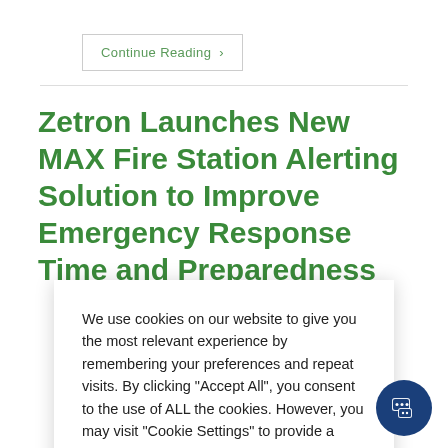Continue Reading ›
Zetron Launches New MAX Fire Station Alerting Solution to Improve Emergency Response Time and Preparedness
We use cookies on our website to give you the most relevant experience by remembering your preferences and repeat visits. By clicking "Accept All", you consent to the use of ALL the cookies. However, you may visit "Cookie Settings" to provide a controlled consent.
Cookie Settings
Accept All